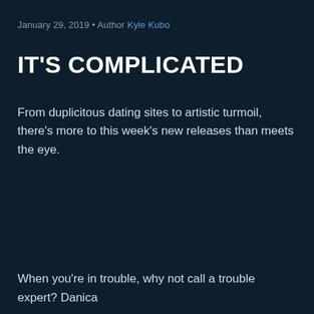January 29, 2019 • Author Kyle Kubo
IT'S COMPLICATED
From duplicitous dating sites to artistic turmoil, there's more to this week's new releases than meets the eye.
When you're in trouble, why not call a trouble expert? Danica